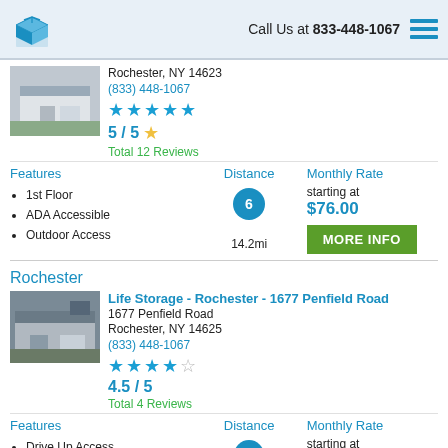Call Us at 833-448-1067
Rochester, NY 14623
(833) 448-1067
5 / 5
Total 12 Reviews
Features
• 1st Floor
• ADA Accessible
• Outdoor Access
Distance
14.2mi
Monthly Rate
starting at
$76.00
Rochester
Life Storage - Rochester - 1677 Penfield Road
1677 Penfield Road
Rochester, NY 14625
(833) 448-1067
4.5 / 5
Total 4 Reviews
Features
• Drive Up Access
Distance
Monthly Rate
starting at